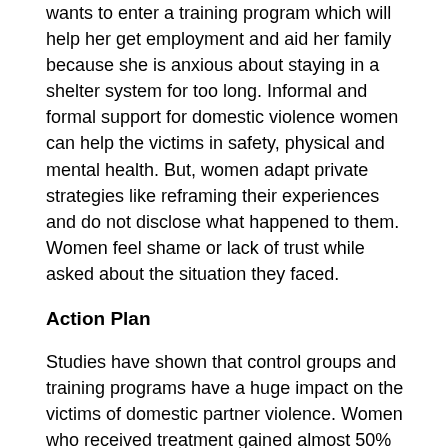wants to enter a training program which will help her get employment and aid her family because she is anxious about staying in a shelter system for too long. Informal and formal support for domestic violence women can help the victims in safety, physical and mental health. But, women adapt private strategies like reframing their experiences and do not disclose what happened to them. Women feel shame or lack of trust while asked about the situation they faced.
Action Plan
Studies have shown that control groups and training programs have a huge impact on the victims of domestic partner violence. Women who received treatment gained almost 50% improvement compared to those who did not. In this case, the client wants to enter a training program where she can know about the domestic violence better and be able to provide for their children. She is very anxious about being in a shelter system for a long time and wants to earn money to be able to have her own living place. In the case of closure mention from shelter to shelter...